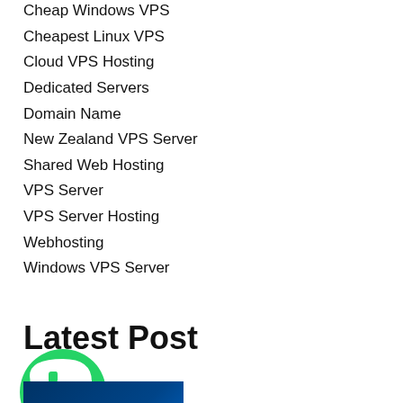Cheap Windows VPS
Cheapest Linux VPS
Cloud VPS Hosting
Dedicated Servers
Domain Name
New Zealand VPS Server
Shared Web Hosting
VPS Server
VPS Server Hosting
Webhosting
Windows VPS Server
Latest Post
[Figure (logo): WhatsApp logo icon — green speech bubble with phone handset]
[Figure (screenshot): Thumbnail image for a blog post with a dark blue background and a white menu icon]